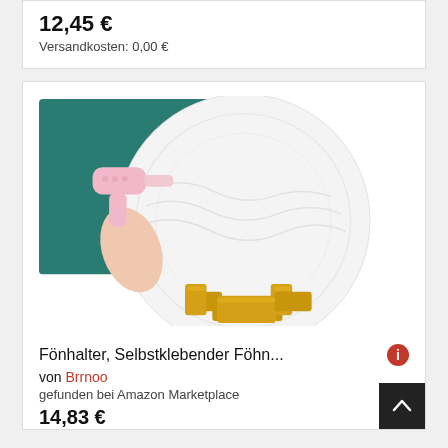12,45 €
Versandkosten: 0,00 €
[Figure (photo): A hair dryer holder product photo showing a white circular self-adhesive holder with gold/brass bracket support, and an inset image of someone using a pink hair dryer on a teal wall with the holder.]
Fönhalter, Selbstklebender Föhn...
von Brrnoo
gefunden bei Amazon Marketplace
14,83 €